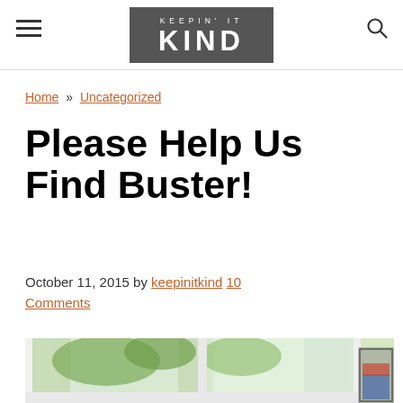KEEPIN' IT KIND — navigation header with hamburger menu and search icon
Home » Uncategorized
Please Help Us Find Buster!
October 11, 2015 by keepinitkind 10 Comments
[Figure (photo): Partial view of a room with a window looking out to green trees/foliage, bright daylight outside; a wire basket visible at right edge]